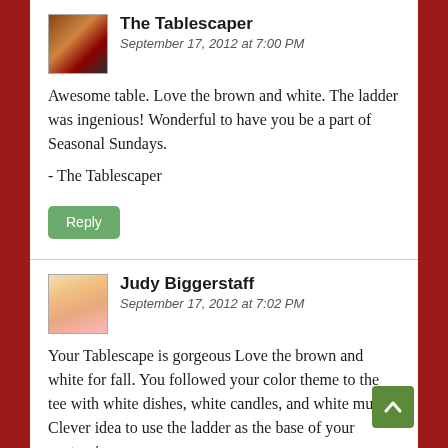The Tablescaper
September 17, 2012 at 7:00 PM

Awesome table. Love the brown and white. The ladder was ingenious! Wonderful to have you be a part of Seasonal Sundays.

- The Tablescaper

Reply
Judy Biggerstaff
September 17, 2012 at 7:02 PM

Your Tablescape is gorgeous Love the brown and white for fall. You followed your color theme to the tee with white dishes, white candles, and white mums. Clever idea to use the ladder as the base of your centerpiece